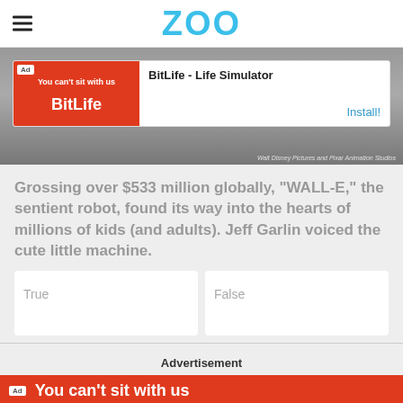ZOO
[Figure (screenshot): Gray-toned background image showing mechanical/robot parts, with a BitLife - Life Simulator ad banner overlaid. Caption reads: Walt Disney Pictures and Pixar Animation Studios]
Grossing over $533 million globally, "WALL-E," the sentient robot, found its way into the hearts of millions of kids (and adults). Jeff Garlin voiced the cute little machine.
True
False
Advertisement
[Figure (screenshot): Red advertisement banner with 'Ad' label and text 'You can't sit with us']